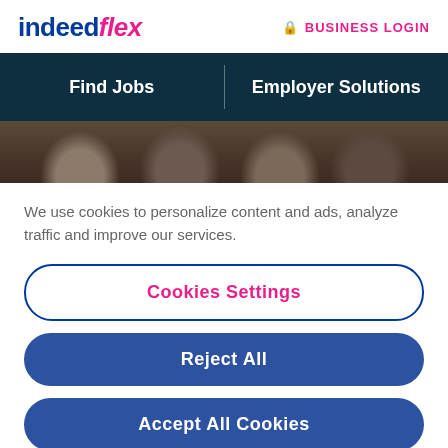indeed flex | BUSINESS LOGIN
[Figure (screenshot): Navigation bar with dark teal background showing Find Jobs and Employer Solutions links]
[Figure (photo): Strip photo showing a group of smiling people in a professional/social setting]
We use cookies to personalize content and ads, analyze traffic and improve our services.
Cookies Settings
Reject All
Accept All Cookies